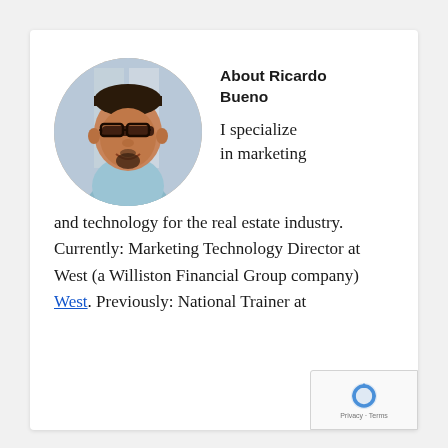[Figure (photo): Circular profile photo of Ricardo Bueno, a man with glasses and a goatee wearing a light blue shirt, photographed indoors.]
About Ricardo Bueno
I specialize in marketing and technology for the real estate industry. Currently: Marketing Technology Director at West (a Williston Financial Group company) West. Previously: National Trainer at